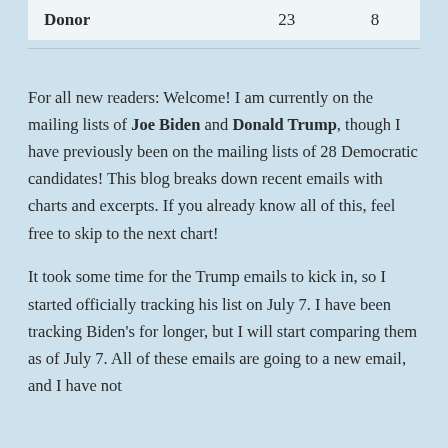| Donor | 23 | 8 |
For all new readers: Welcome! I am currently on the mailing lists of Joe Biden and Donald Trump, though I have previously been on the mailing lists of 28 Democratic candidates! This blog breaks down recent emails with charts and excerpts. If you already know all of this, feel free to skip to the next chart!
It took some time for the Trump emails to kick in, so I started officially tracking his list on July 7. I have been tracking Biden's for longer, but I will start comparing them as of July 7. All of these emails are going to a new email, and I have not